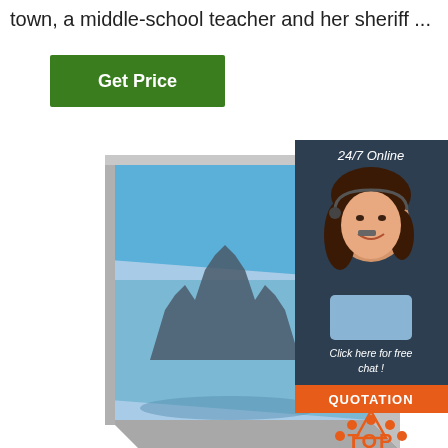town, a middle-school teacher and her sheriff ...
[Figure (other): Green 'Get Price' button]
[Figure (photo): Canvas print illustration showing a framed photo of a gothic cathedral city at an angle, with a sidebar widget showing a customer service representative with headset, '24/7 Online' label, 'Click here for free chat!' text, an orange 'QUOTATION' button, and an orange 'TOP' badge with dots.]